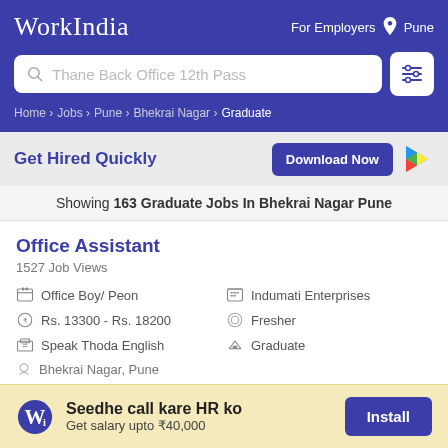WorkIndia — For Employers — Pune
Thane Back Office 12th Pass (search box)
Home › Jobs › Pune › Bhekrai Nagar › Graduate
Get Hired Quickly — Download Now
Showing 163 Graduate Jobs In Bhekrai Nagar Pune
Office Assistant
1527 Job Views
Office Boy / Peon
Indumati Enterprises
Rs. 13300 - Rs. 18200
Fresher
Speak Thoda English
Graduate
Bhekrai Nagar, Pune
Seedhe call kare HR ko — Get salary upto ₹40,000 — Install